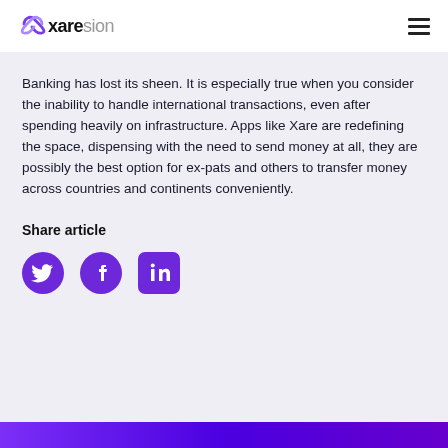Xaresion
Banking has lost its sheen. It is especially true when you consider the inability to handle international transactions, even after spending heavily on infrastructure. Apps like Xare are redefining the space, dispensing with the need to send money at all, they are possibly the best option for ex-pats and others to transfer money across countries and continents conveniently.
Share article
[Figure (other): Social media share icons for Twitter, Facebook, and LinkedIn, all in purple color]